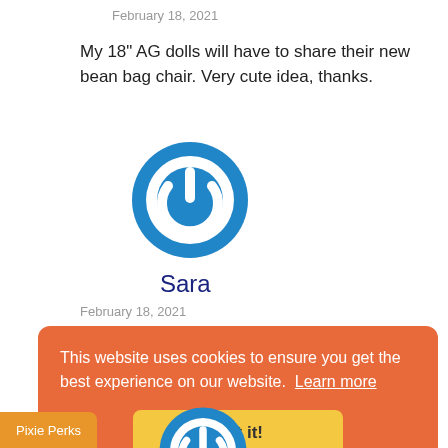February 18, 2021
My 18" AG dolls will have to share their new bean bag chair. Very cute idea, thanks.
[Figure (logo): Blue circular power/avatar icon with white power symbol inside]
Sara
February 18, 2021
This website uses cookies to ensure you get the best experience on our website.  Learn more
Got it!
Pixie Perks